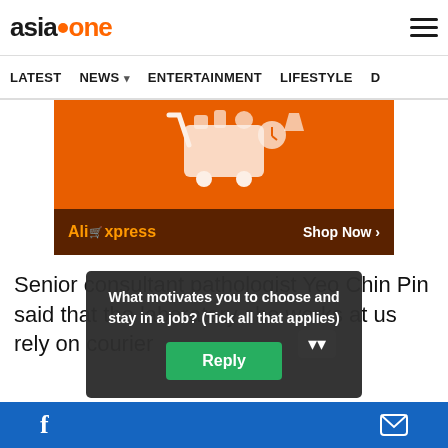AsiaOne — navigation header with hamburger menu
LATEST  NEWS ▾  ENTERTAINMENT  LIFESTYLE  D
[Figure (screenshot): AliExpress advertisement banner — orange background with shopping cart icon, dark brown bottom bar reading 'AliExpress  Shop Now >']
Senior consultant pathologist Yeo Chin Pin said that the laboratory she works at us[...] rely on courier[...]
What motivates you to choose and stay in a job? (Tick all that applies)
[Reply button]
Facebook share button | Email button